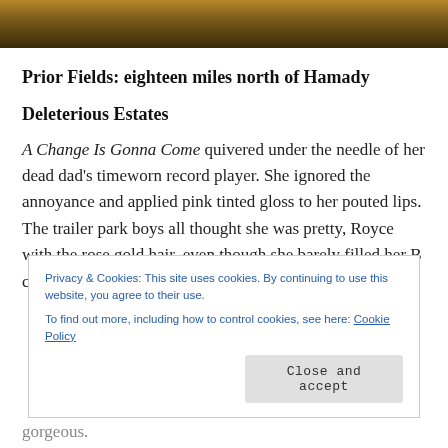[Figure (photo): Partial photo of a surface with warm golden/brown tones, cropped at top of page]
Prior Fields: eighteen miles north of Hamady
Deleterious Estates
A Change Is Gonna Come quivered under the needle of her dead dad's timeworn record player. She ignored the annoyance and applied pink tinted gloss to her pouted lips. The trailer park boys all thought she was pretty, Royce with the rose gold hair, even though she barely filled her B cup
Privacy & Cookies: This site uses cookies. By continuing to use this website, you agree to their use.
To find out more, including how to control cookies, see here: Cookie Policy
gorgeous.